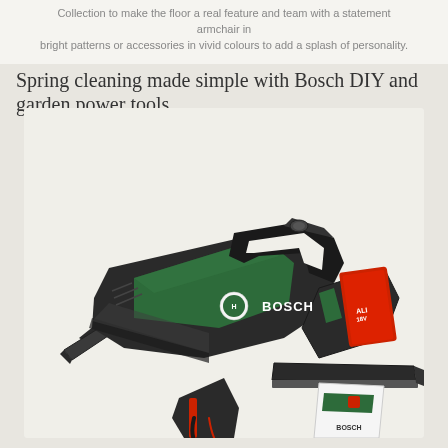Collection to make the floor a real feature and team with a statement armchair in bright patterns or accessories in vivid colours to add a splash of personality.
Spring cleaning made simple with Bosch DIY and garden power tools
[Figure (photo): Bosch green and black cordless handheld vacuum cleaner (UniversalVac 18) shown at an angle, with battery pack on the side labelled ALI 18V and Bosch logo on the body. Below it: partial view of two other Bosch tools — a window vac/cleaner and another tool with red accents.]